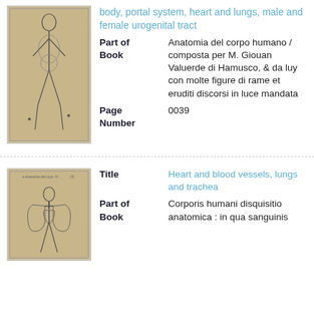[Figure (illustration): Historical anatomical illustration of a human body showing portal system, heart and lungs, male and female urogenital tract]
body, portal system, heart and lungs, male and female urogenital tract
Part of Book
Anatomia del corpo humano / composta per M. Giouan Valuerde di Hamusco, & da luy con molte figure di rame et eruditi discorsi in luce mandata
Page Number
0039
[Figure (illustration): Historical anatomical illustration showing heart and blood vessels, lungs and trachea]
Title
Heart and blood vessels, lungs and trachea
Part of Book
Corporis humani disquisitio anatomica : in qua sanguinis